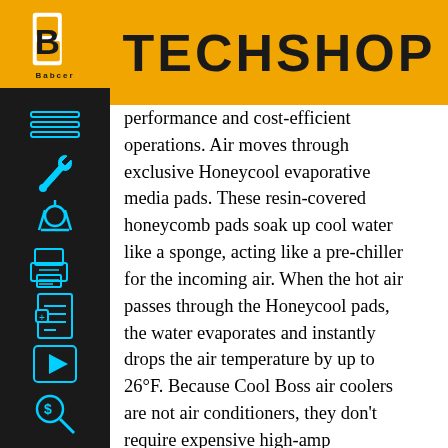TECHSHOP
performance and cost-efficient operations. Air moves through exclusive Honeycool evaporative media pads. These resin-covered honeycomb pads soak up cool water like a sponge, acting like a pre-chiller for the incoming air. When the hot air passes through the Honeycool pads, the water evaporates and instantly drops the air temperature by up to 26°F. Because Cool Boss air coolers are not air conditioners, they don't require expensive high-amp compressor motors, environmentally toxic chemicals, refrigerants, or installation.
The Cool Boss lineup consists of two series. The four COOLBREEZE portable air coolers feature automatic swing louvers to provide complete control over where the chilled air goes. Their